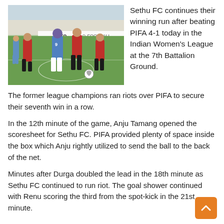[Figure (photo): Women's football match with players in red and blue uniforms competing on a grass pitch. A 'Hero Football' advertisement banner is visible in the background.]
Sethu FC continues their winning run after beating PIFA 4-1 today in the Indian Women's League at the 7th Battalion Ground. The former league champions ran riots over PIFA to secure their seventh win in a row.
In the 12th minute of the game, Anju Tamang opened the scoresheet for Sethu FC. PIFA provided plenty of space inside the box which Anju rightly utilized to send the ball to the back of the net.
Minutes after Durga doubled the lead in the 18th minute as Sethu FC continued to run riot. The goal shower continued with Renu scoring the third from the spot-kick in the 21st minute.